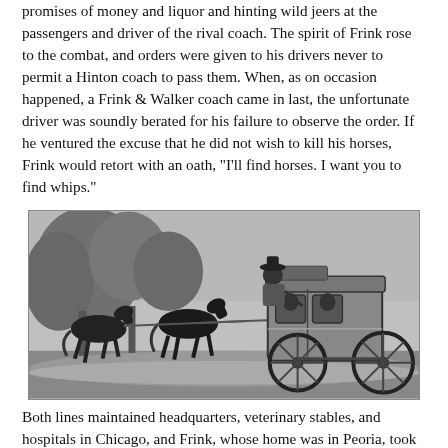promises of money and liquor and hinting wild jeers at the passengers and driver of the rival coach. The spirit of Frink rose to the combat, and orders were given to his drivers never to permit a Hinton coach to pass them. When, as on occasion happened, a Frink & Walker coach came in last, the unfortunate driver was soundly berated for his failure to observe the order. If he ventured the excuse that he did not wish to kill his horses, Frink would retort with an oath, "I'll find horses. I want you to find whips."
[Figure (illustration): Black and white engraving of a horse-drawn stagecoach with three horses galloping at speed, a driver seated at the front, and passengers visible inside the coach. Trees are in the background.]
Both lines maintained headquarters, veterinary stables, and hospitals in Chicago, and Frink, whose home was in Peoria, took his station to direct operations. Of course, he...